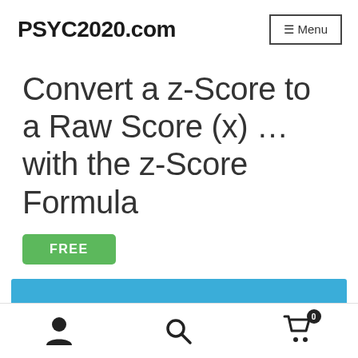PSYC2020.com  ≡ Menu
Convert a z-Score to a Raw Score (x) …with the z-Score Formula
FREE
This content is only available to members
person icon | search icon | cart icon (0)